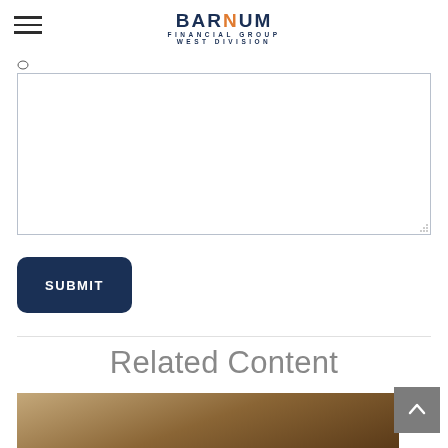BARNUM FINANCIAL GROUP WEST DIVISION
[Figure (screenshot): Text area input field (form element) with resize handle at bottom right]
SUBMIT
Related Content
[Figure (photo): Partial photo of a person, cropped at bottom of page]